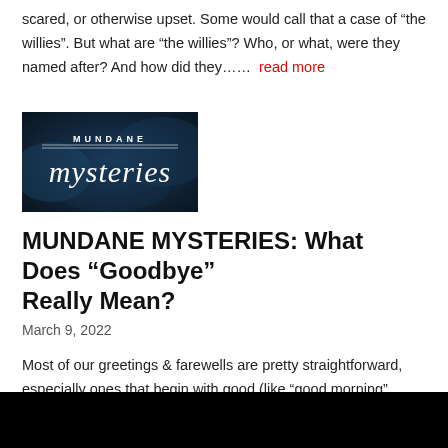scared, or otherwise upset. Some would call that a case of “the willies”. But what are “the willies”? Who, or what, were they named after? And how did they……  read more
[Figure (logo): Mundane Mysteries logo — dark blue background with text 'MUNDANE mysteries' in white]
MUNDANE MYSTERIES: What Does “Goodbye” Really Mean?
March 9, 2022
Most of our greetings & farewells are pretty straightforward, especially ones that begin with good (like “good morning”, “good afternoon”, “good night”, etc.). But what about “goodbye”? Are